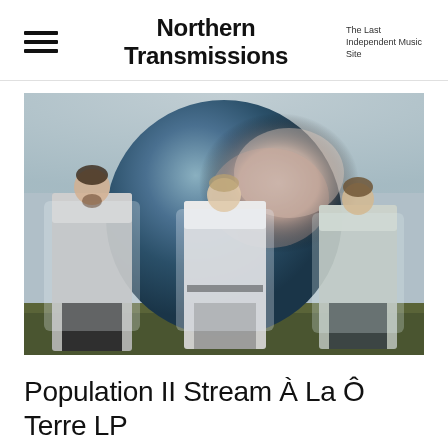Northern Transmissions — The Last Independent Music Site
[Figure (photo): Three young men wearing transparent plastic rain ponchos standing in front of a large decorative sphere/globe sculpture outdoors on a grey overcast day]
Population II Stream À La Ô Terre LP